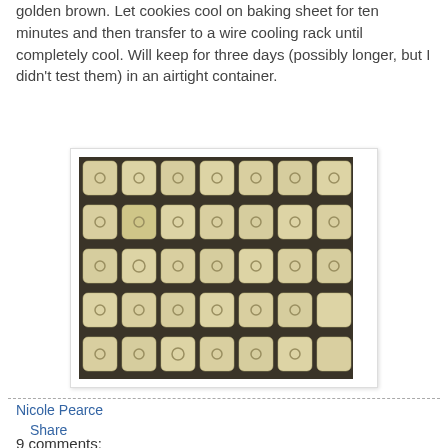golden brown. Let cookies cool on baking sheet for ten minutes and then transfer to a wire cooling rack until completely cool. Will keep for three days (possibly longer, but I didn't test them) in an airtight container.
[Figure (photo): Rows of square shortbread-style cookies with thumb indentations, arranged on a wire cooling rack, photographed from above. Cookies are pale golden, square shaped with rounded corners.]
Nicole Pearce
Share
9 comments: